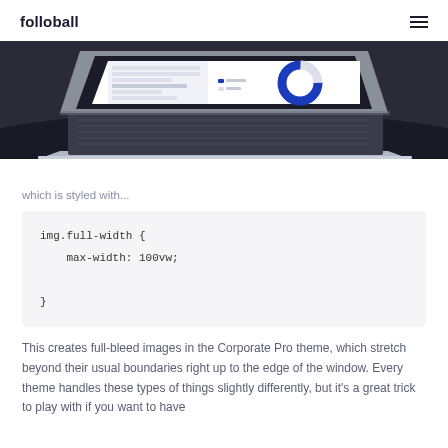folloball
[Figure (photo): Laptop computer on dark desk showing a dashboard with a blue donut chart and data tables on screen, photographed at an angle from below]
which is styled with...
This creates full-bleed images in the Corporate Pro theme, which stretch beyond their usual boundaries right up to the edge of the window. Every theme handles these types of things slightly differently, but it's a great trick to play with if you want to have